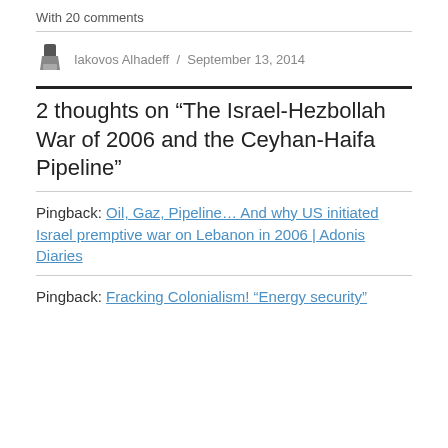With 20 comments
Iakovos Alhadeff / September 13, 2014
2 thoughts on “The Israel-Hezbollah War of 2006 and the Ceyhan-Haifa Pipeline”
Pingback: Oil, Gaz, Pipeline… And why US initiated Israel premptive war on Lebanon in 2006 | Adonis Diaries
Pingback: Fracking Colonialism! “Energy security”